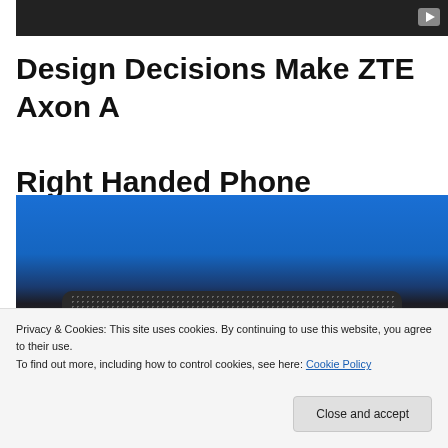[Figure (screenshot): Dark video player bar with a YouTube play button icon in the top right corner]
Design Decisions Make ZTE Axon A Right Handed Phone
[Figure (photo): Close-up photo of a blue ZTE Axon smartphone back panel with a speaker grille visible at the bottom]
Privacy & Cookies: This site uses cookies. By continuing to use this website, you agree to their use.
To find out more, including how to control cookies, see here: Cookie Policy
Close and accept